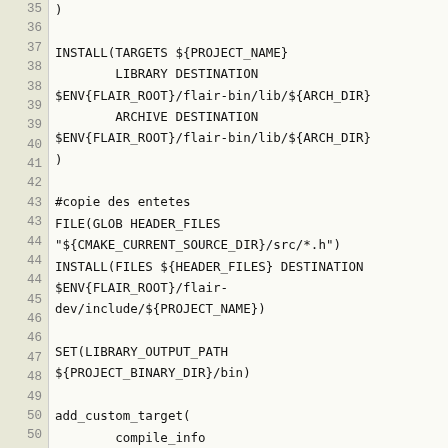Code listing lines 35-50: CMake build script with INSTALL, FILE, SET, and add_custom_target commands